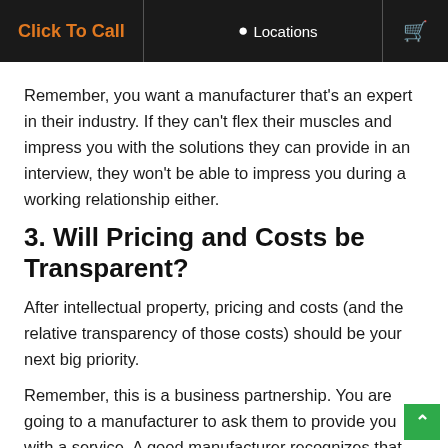Click To Call | Locations | [cart icon]
Remember, you want a manufacturer that's an expert in their industry. If they can't flex their muscles and impress you with the solutions they can provide in an interview, they won't be able to impress you during a working relationship either.
3. Will Pricing and Costs be Transparent?
After intellectual property, pricing and costs (and the relative transparency of those costs) should be your next big priority.
Remember, this is a business partnership. You are going to a manufacturer to ask them to provide you with a service. A good manufacturer recognizes that this is an expense for you and should be willing and able to answer your questions about cost.